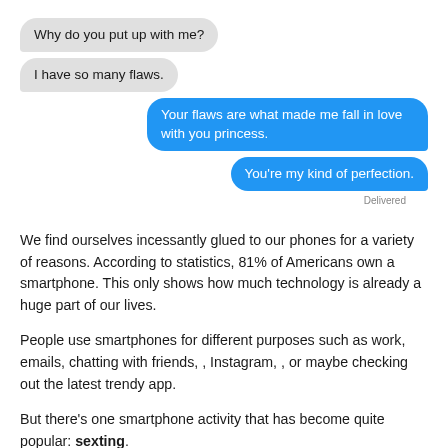[Figure (screenshot): iOS-style text message conversation. Left (gray) bubbles: 'Why do you put up with me?' and 'I have so many flaws.' Right (blue) bubbles: 'Your flaws are what made me fall in love with you princess.' and 'You're my kind of perfection.' with 'Delivered' label beneath.]
We find ourselves incessantly glued to our phones for a variety of reasons. According to statistics, 81% of Americans own a smartphone. This only shows how much technology is already a huge part of our lives.
People use smartphones for different purposes such as work, emails, chatting with friends, , Instagram, , or maybe checking out the latest trendy app.
But there's one smartphone activity that has become quite popular: sexting.